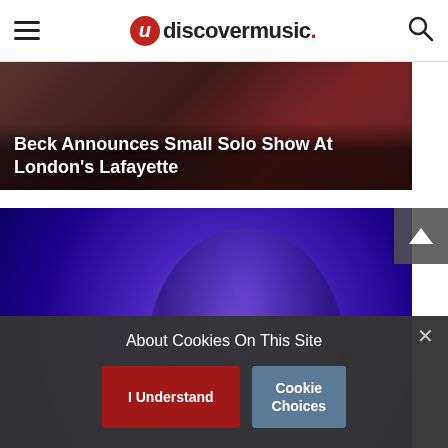udiscovermusic.
[Figure (photo): Article card with dark red background: Beck Announces Small Solo Show At London's Lafayette]
Beck Announces Small Solo Show At London's Lafayette
[Figure (photo): Photo of Andrew Bird on stage under blue/purple lighting, smiling, with a microphone]
Andrew Bird Shares Multi-Language Lyric Video For 'Make A Picture'
About Cookies On This Site
I Understand
Cookie Choices